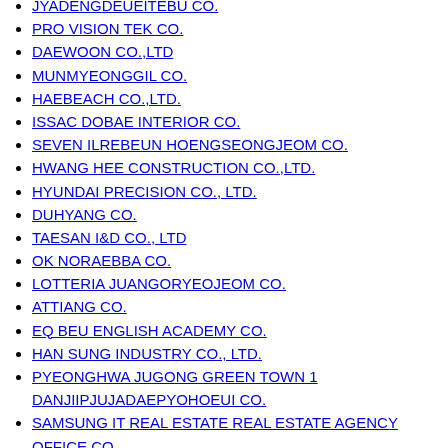JYADENGDEUEITEBU CO.
PRO VISION TEK CO.
DAEWOON CO.,LTD
MUNMYEONGGIL CO.
HAEBEACH CO.,LTD.
ISSAC DOBAE INTERIOR CO.
SEVEN ILREBEUN HOENGSEONGJEOM CO.
HWANG HEE CONSTRUCTION CO.,LTD.
HYUNDAI PRECISION CO., LTD.
DUHYANG CO.
TAESAN I&D CO., LTD
OK NORAEBBA CO.
LOTTERIA JUANGORYEOJEOM CO.
ATTIANG CO.
EQ BEU ENGLISH ACADEMY CO.
HAN SUNG INDUSTRY CO., LTD.
PYEONGHWA JUGONG GREEN TOWN 1 DANJIIPJUJADAEPYOHOEUI CO.
SAMSUNG IT REAL ESTATE REAL ESTATE AGENCY OFFICE CO.
HANGIL INTERIOR CO.
DONGCHANG ACADEMY CO.
SSANGYONG INTERIOR CO.
NANEUN DARKYIDA CO.
SHINSUNG SHIPPING MOTOR CO.